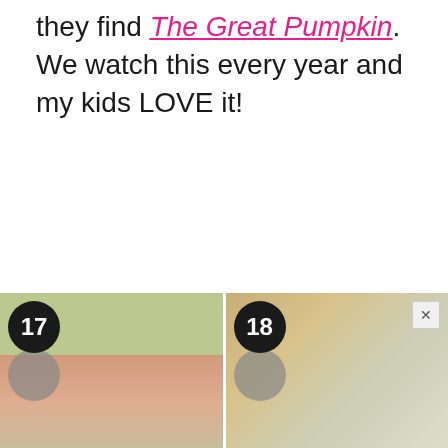they find The Great Pumpkin. We watch this every year and my kids LOVE it!
[Figure (photo): Image tile numbered 17 showing a person in Halloween-related scene with green and orange tones]
[Figure (photo): Image tile numbered 18 showing an outdoor autumnal scene with foliage and possibly people in white costumes]